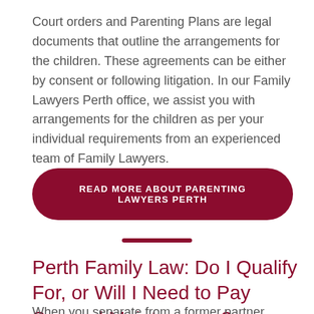Court orders and Parenting Plans are legal documents that outline the arrangements for the children. These agreements can be either by consent or following litigation. In our Family Lawyers Perth office, we assist you with arrangements for the children as per your individual requirements from an experienced team of Family Lawyers.
READ MORE ABOUT PARENTING LAWYERS PERTH
Perth Family Law: Do I Qualify For, or Will I Need to Pay Spousal Maintenance?
When you separate from a former partner, there may come a time when...